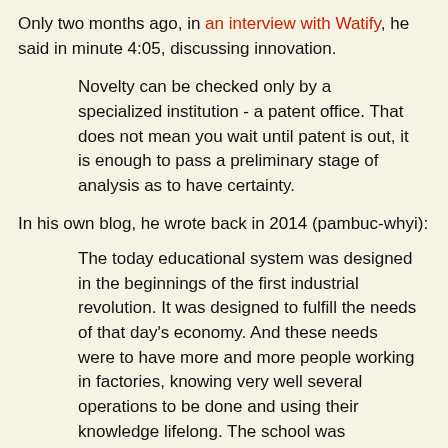Only two months ago, in an interview with Watify, he said in minute 4:05, discussing innovation.
Novelty can be checked only by a specialized institution - a patent office. That does not mean you wait until patent is out, it is enough to pass a preliminary stage of analysis as to have certainty.
In his own blog, he wrote back in 2014 (pambuc-whyi):
The today educational system was designed in the beginnings of the first industrial revolution. It was designed to fulfill the needs of that day's economy. And these needs were to have more and more people working in factories, knowing very well several operations to be done and using their knowledge lifelong. The school was modelled based on the most successful entity of those times: the factory. The keywords of this educational system are: universality, uniform curricula and uniform development. But the factory is disappearing and the keywords that we need today seem to be access, adapted curricula